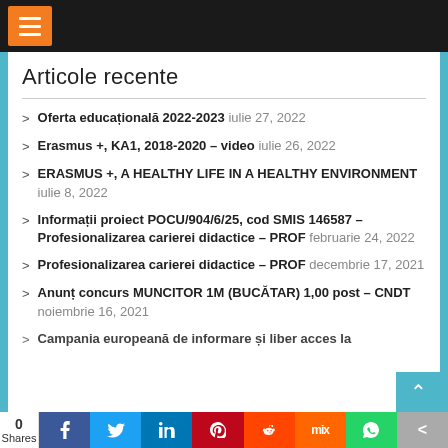Articole recente
Oferta educațională 2022-2023 iulie 27, 2022
Erasmus +, KA1, 2018-2020 – video iulie 26, 2022
ERASMUS +, A HEALTHY LIFE IN A HEALTHY ENVIRONMENT iulie 8, 2022
Informații proiect POCU/904/6/25, cod SMIS 146587 – Profesionalizarea carierei didactice – PROF februarie 24, 2022
Profesionalizarea carierei didactice – PROF decembrie 17, 2021
Anunț concurs MUNCITOR 1M (BUCĂTAR) 1,00 post – CNDT noiembrie 16, 2021
Campania europeană de informare și liber acces la
0 Shares